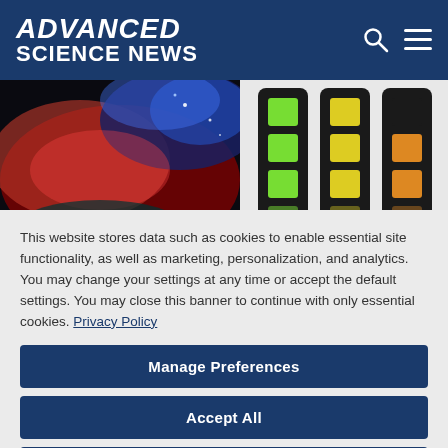ADVANCED SCIENCE NEWS
[Figure (photo): Two scientific images: left shows a fluorescence microscopy image with red, blue and teal colors; right shows three vertical strips with colored squares (green, yellow, orange) on dark backgrounds]
This website stores data such as cookies to enable essential site functionality, as well as marketing, personalization, and analytics. You may change your settings at any time or accept the default settings. You may close this banner to continue with only essential cookies. Privacy Policy
Manage Preferences
Accept All
Reject All